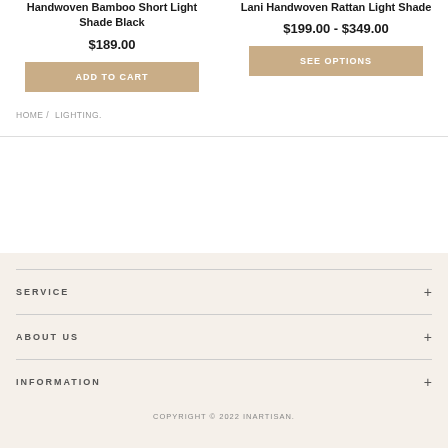Handwoven Bamboo Short Light Shade Black
$189.00
Lani Handwoven Rattan Light Shade
$199.00 - $349.00
ADD TO CART
SEE OPTIONS
HOME / LIGHTING.
SERVICE
ABOUT US
INFORMATION
COPYRIGHT © 2022 INARTISAN.